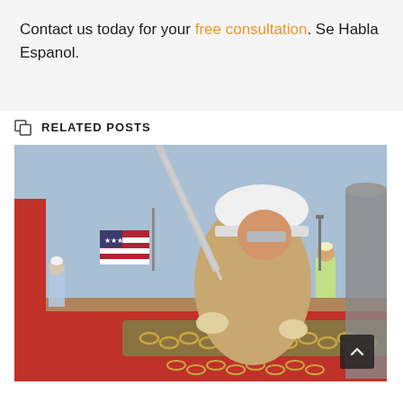Contact us today for your free consultation. Se Habla Espanol.
RELATED POSTS
[Figure (photo): A construction worker wearing a white hard hat and safety glasses leans over heavy red equipment, handling large industrial chains on a worksite. An American flag, red crane, and other workers in high-visibility vests are visible in the background.]